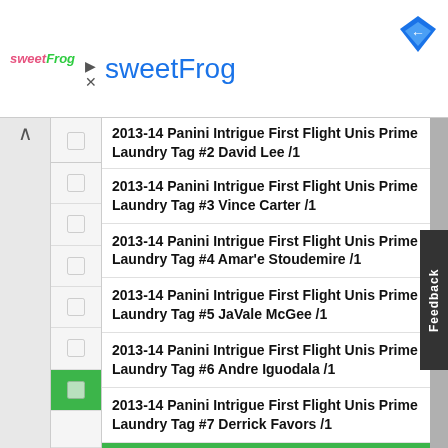sweetFrog
2013-14 Panini Intrigue First Flight Unis Prime Laundry Tag #2 David Lee /1
2013-14 Panini Intrigue First Flight Unis Prime Laundry Tag #3 Vince Carter /1
2013-14 Panini Intrigue First Flight Unis Prime Laundry Tag #4 Amar'e Stoudemire /1
2013-14 Panini Intrigue First Flight Unis Prime Laundry Tag #5 JaVale McGee /1
2013-14 Panini Intrigue First Flight Unis Prime Laundry Tag #6 Andre Iguodala /1
2013-14 Panini Intrigue First Flight Unis Prime Laundry Tag #7 Derrick Favors /1
2013-14 Panini Intrigue First Flight Unis Prime Laundry Tag #8 Andrei Kirilenko /1
2013-14 Panini Intrigue First Flight Unis Prime